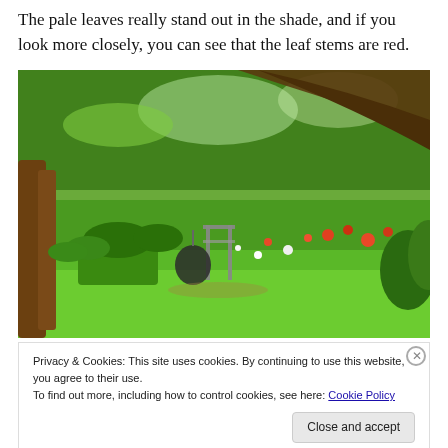The pale leaves really stand out in the shade, and if you look more closely, you can see that the leaf stems are red.
[Figure (photo): A lush garden scene photographed under a large tree with spreading branches. Green lawn in the foreground, colorful flower beds in the middle and background, a metal gate, a hanging black sculpture, and garden plantings throughout.]
Privacy & Cookies: This site uses cookies. By continuing to use this website, you agree to their use.
To find out more, including how to control cookies, see here: Cookie Policy
Close and accept